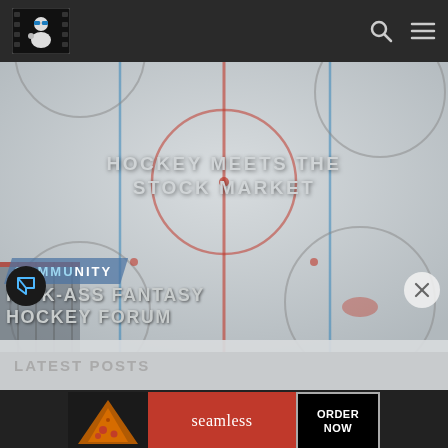Hockey analytics website header with logo, search icon, and menu icon
[Figure (screenshot): Hockey rink aerial view background image with ice markings, circles and boards visible]
HOCKEY MEETS THE STOCK MARKET
COMMUNITY
KICK-ASS FANTASY HOCKEY FORUM
LATEST POSTS
[Figure (other): Seamless food delivery advertisement banner with pizza image, Seamless brand name and ORDER NOW button]